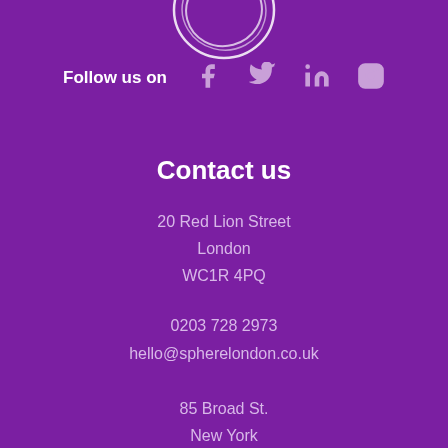[Figure (logo): Sphere London logo — partial white circular swoosh lines on purple background]
Follow us on
[Figure (illustration): Social media icons: Facebook, Twitter, LinkedIn, Instagram in light purple]
Contact us
20 Red Lion Street
London
WC1R 4PQ
0203 728 2973
hello@spherelondon.co.uk
85 Broad St.
New York